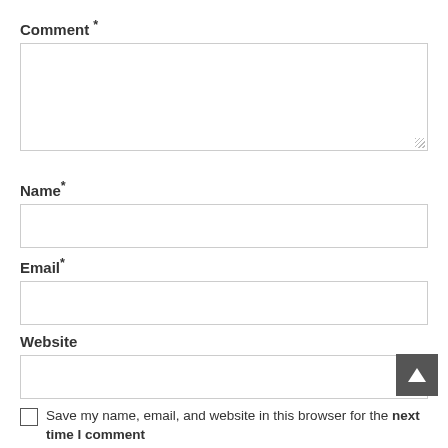Comment *
[Figure (other): Large textarea input field for comment, empty, with resize handle at bottom right]
Name*
[Figure (other): Single-line text input field for name, empty]
Email*
[Figure (other): Single-line text input field for email, empty]
Website
[Figure (other): Single-line text input field for website, empty]
Save my name, email, and website in this browser for the next time I comment.
[Figure (other): Scroll-to-top button, dark grey square with white up arrow]